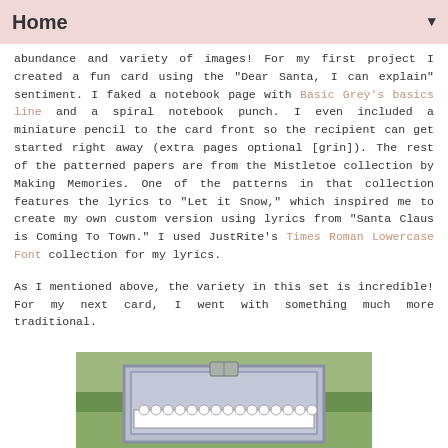Home
abundance and variety of images! For my first project I created a fun card using the "Dear Santa, I can explain" sentiment. I faked a notebook page with Basic Grey's basics line and a spiral notebook punch. I even included a miniature pencil to the card front so the recipient can get started right away (extra pages optional [grin]). The rest of the patterned papers are from the Mistletoe collection by Making Memories. One of the patterns in that collection features the lyrics to "Let it Snow," which inspired me to create my own custom version using lyrics from "Santa Claus is Coming To Town." I used JustRite's Times Roman Lowercase Font collection for my lyrics.
As I mentioned above, the variety in this set is incredible! For my next card, I went with something much more traditional.
[Figure (photo): Photo of a handmade card with a silver/grey frame, scalloped white border, and decorative clip at the top, photographed against a green leafy background.]